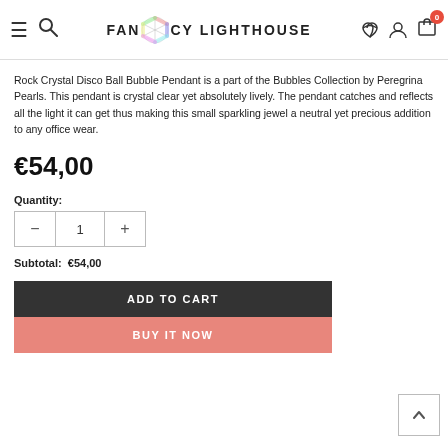FANCY LIGHTHOUSE — navigation header with hamburger, search, logo, heart, user, cart icons
Rock Crystal Disco Ball Bubble Pendant is a part of the Bubbles Collection by Peregrina Pearls. This pendant is crystal clear yet absolutely lively. The pendant catches and reflects all the light it can get thus making this small sparkling jewel a neutral yet precious addition to any office wear.
€54,00
Quantity:
Subtotal:  €54,00
ADD TO CART
BUY IT NOW